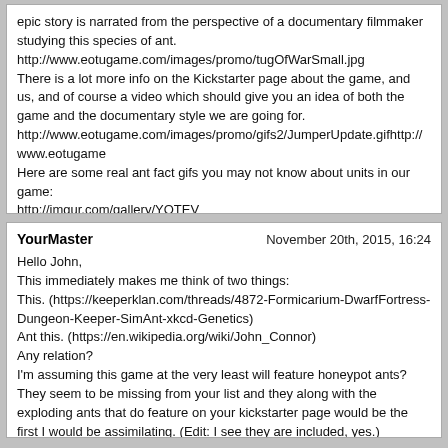epic story is narrated from the perspective of a documentary filmmaker studying this species of ant.

http://www.eotugame.com/images/promo/tugOfWarSmall.jpg

There is a lot more info on the Kickstarter page about the game, and us, and of course a video which should give you an idea of both the game and the documentary style we are going for.

http://www.eotugame.com/images/promo/gifs2/JumperUpdate.gifhttp://www.eotugame

Here are some real ant fact gifs you may not know about units in our game:
http://imgur.com/gallery/YQTEV
https://imgur.com/gallery/2W5RW

We welcome feedback, about the Kickstarter, ourselves, our ideas, the game and everything else! We are always trying to improve. Thank you for taking the time to check the game. If you like what you see and you think your friends might also, please do share.
YourMaster — November 20th, 2015, 16:24

Hello John,

This immediately makes me think of two things:
This. (https://keeperklan.com/threads/4872-Formicarium-DwarfFortress-Dungeon-Keeper-SimAnt-xkcd-Genetics)
Ant this. (https://en.wikipedia.org/wiki/John_Connor)
Any relation?

I'm assuming this game at the very least will feature honeypot ants? They seem to be missing from your list and they along with the exploding ants that do feature on your kickstarter page would be the first I would be assimilating. (Edit: I see they are included, yes.)
Also, I'd love to see some of the more unique non-ant species that ants interact